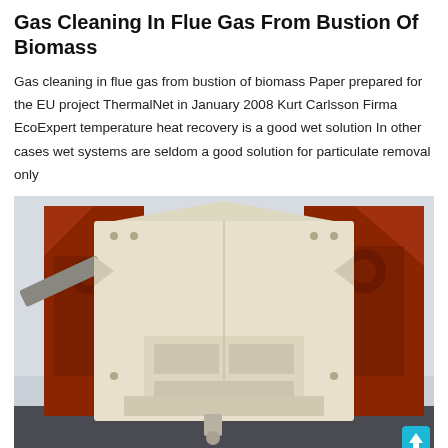Gas Cleaning In Flue Gas From Bustion Of Biomass
Gas cleaning in flue gas from bustion of biomass Paper prepared for the EU project ThermalNet in January 2008 Kurt Carlsson Firma EcoExpert temperature heat recovery is a good wet solution In other cases wet systems are seldom a good solution for particulate removal only
[Figure (photo): Industrial machinery photo showing large cream/beige colored impact crusher or mill equipment with red/orange structural frames in an outdoor industrial setting.]